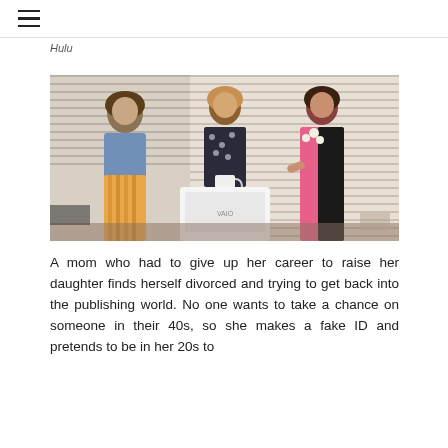☰
Hulu
[Figure (photo): Three women standing around a white VAIO desktop computer in a modern office. Left woman wears a denim jacket over striped skirt. Center woman holds a mug and wears a floral top. Right woman wears a pink dress with a large white necklace. Window blinds visible in background.]
A mom who had to give up her career to raise her daughter finds herself divorced and trying to get back into the publishing world. No one wants to take a chance on someone in their 40s, so she makes a fake ID and pretends to be in her 20s to